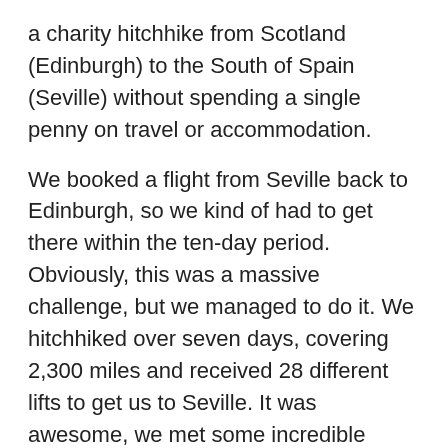a charity hitchhike from Scotland (Edinburgh) to the South of Spain (Seville) without spending a single penny on travel or accommodation.
We booked a flight from Seville back to Edinburgh, so we kind of had to get there within the ten-day period. Obviously, this was a massive challenge, but we managed to do it. We hitchhiked over seven days, covering 2,300 miles and received 28 different lifts to get us to Seville. It was awesome, we met some incredible people (as well as some pretty dodgy ones) and had some experiences that we've never had before - which was all part of the fun for us. I already had a Justgiving page set up for my half marathon, so we just directed people to that page to donate to our hitchhike. Over the